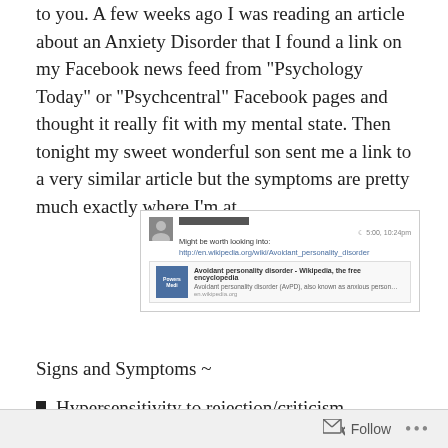to you. A few weeks ago I was reading an article about an Anxiety Disorder that I found a link on my Facebook news feed from “Psychology Today” or “Psychcentral” Facebook pages and thought it really fit with my mental state. Then tonight my sweet wonderful son sent me a link to a very similar article but the symptoms are pretty much exactly where I’m at.
[Figure (screenshot): Facebook post screenshot showing a message 'Might be worth looking into: http://en.wikipedia.org/wiki/Avoidant_personality_disorder' with a Wikipedia link preview for 'Avoidant personality disorder - Wikipedia, the free encyclopedia'. Time stamp shows 5:00, 10:24pm.]
Signs and Symptoms ~
Hypersensitivity to rejection/criticism
Self-imposed social isolation
Follow ...